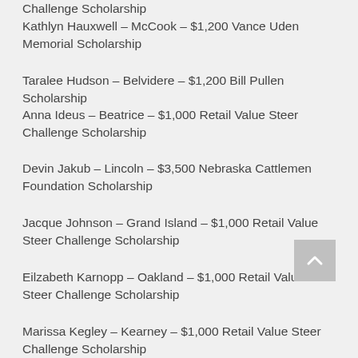Challenge Scholarship
Kathlyn Hauxwell – McCook – $1,200 Vance Uden Memorial Scholarship
Taralee Hudson – Belvidere – $1,200 Bill Pullen Scholarship
Anna Ideus – Beatrice – $1,000 Retail Value Steer Challenge Scholarship
Devin Jakub – Lincoln – $3,500 Nebraska Cattlemen Foundation Scholarship
Jacque Johnson – Grand Island – $1,000 Retail Value Steer Challenge Scholarship
Eilzabeth Karnopp – Oakland – $1,000 Retail Value Steer Challenge Scholarship
Marissa Kegley – Kearney – $1,000 Retail Value Steer Challenge Scholarship
Heath Keiser – Gothenburg – $1,200 Ron & Shirley Huss Scholarship
Olivia Klug – Columbus – $1,000 Retail Value Steer Challenge Scholarship